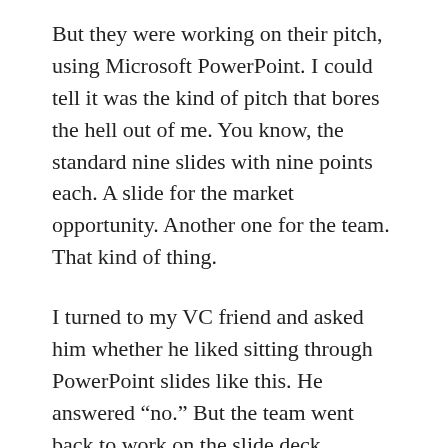But they were working on their pitch, using Microsoft PowerPoint. I could tell it was the kind of pitch that bores the hell out of me. You know, the standard nine slides with nine points each. A slide for the market opportunity. Another one for the team. That kind of thing.
I turned to my VC friend and asked him whether he liked sitting through PowerPoint slides like this. He answered “no.” But the team went back to work on the slide deck anyway.
It’s too bad, because there’s a far better tool to use for doing presentations. It’s Prezi and here I interview CEO Peter Arvai about the new collaboration features they turned on last night and also see some of the